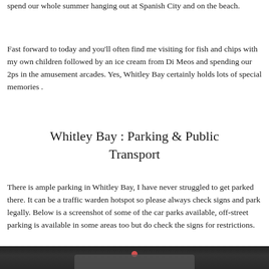spend our whole summer hanging out at Spanish City and on the beach.
Fast forward to today and you'll often find me visiting for fish and chips with my own children followed by an ice cream from Di Meos and spending our 2ps in the amusement arcades. Yes, Whitley Bay certainly holds lots of special memories .
Whitley Bay : Parking & Public Transport
There is ample parking in Whitley Bay, I have never struggled to get parked there. It can be a traffic warden hotspot so please always check signs and park legally. Below is a screenshot of some of the car parks available, off-street parking is available in some areas too but do check the signs for restrictions.
[Figure (screenshot): Dark screenshot showing a map or car park information, with a partially visible card/image in the lower portion of the page]